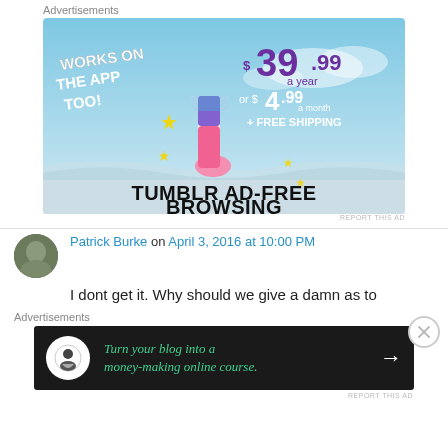Advertisements
[Figure (illustration): Tumblr Ad-Free Browsing advertisement banner. Sky blue background with Tumblr logo and text: WORKS ON THE APP TOO! $39.99 a year or $4.99 a month + FREE SHIPPING. TUMBLR AD-FREE BROWSING.]
REPORT THIS AD
Patrick Burke on April 3, 2016 at 10:00 PM
I dont get it. Why should we give a damn as to
Advertisements
[Figure (illustration): Advertisement banner on dark background: Turn your blog into a money-making online course. with arrow icon.]
REPORT THIS AD